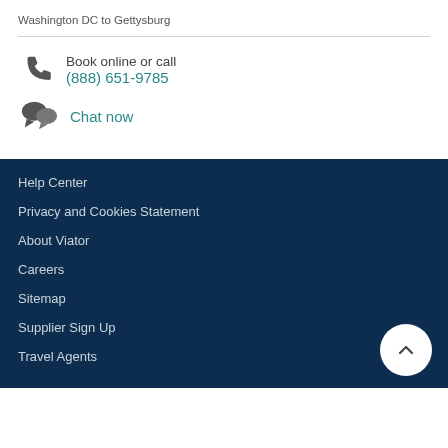Washington DC to Gettysburg
Book online or call
(888) 651-9785
Chat now
Help Center
Privacy and Cookies Statement
About Viator
Careers
Sitemap
Supplier Sign Up
Travel Agents